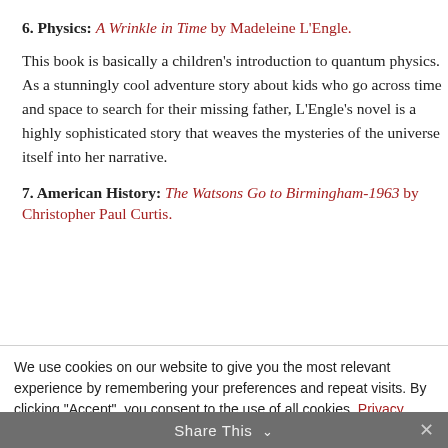6. Physics: A Wrinkle in Time by Madeleine L'Engle.
This book is basically a children's introduction to quantum physics. As a stunningly cool adventure story about kids who go across time and space to search for their missing father, L'Engle's novel is a highly sophisticated story that weaves the mysteries of the universe itself into her narrative.
7. American History: The Watsons Go to Birmingham-1963 by Christopher Paul Curtis.
We use cookies on our website to give you the most relevant experience by remembering your preferences and repeat visits. By clicking "Accept", you consent to the use of all cookies. Privacy Policy
Cookie settings   ACCEPT
Share This